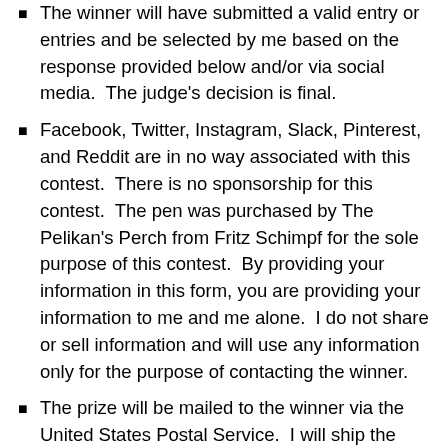The winner will have submitted a valid entry or entries and be selected by me based on the response provided below and/or via social media.  The judge's decision is final.
Facebook, Twitter, Instagram, Slack, Pinterest, and Reddit are in no way associated with this contest.  There is no sponsorship for this contest.  The pen was purchased by The Pelikan's Perch from Fritz Schimpf for the sole purpose of this contest.  By providing your information in this form, you are providing your information to me and me alone.  I do not share or sell information and will use any information only for the purpose of contacting the winner.
The prize will be mailed to the winner via the United States Postal Service.  I will ship the pen within 7 days of me receiving the package from Fritz Schimpf in Germany.  It takes an average of two weeks from the